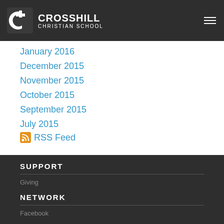Crosshill Christian School
January 2016
December 2015
November 2015
October 2015
September 2015
July 2015
RSS Feed
SUPPORT
Giving
NETWORK
Facebook